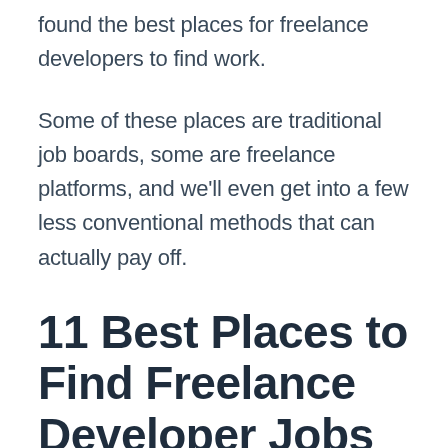found the best places for freelance developers to find work.
Some of these places are traditional job boards, some are freelance platforms, and we'll even get into a few less conventional methods that can actually pay off.
11 Best Places to Find Freelance Developer Jobs